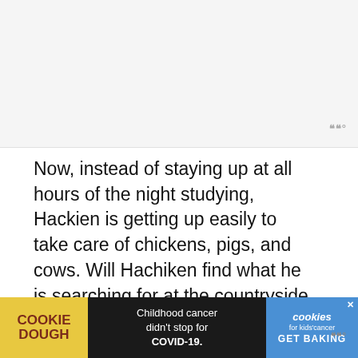[Figure (screenshot): Gray image placeholder area at top of page]
Now, instead of staying up at all hours of the night studying, Hackien is getting up easily to take care of chickens, pigs, and cows. Will Hachiken find what he is searching for at the countryside high school?
9. Tsuki ga Kirei
[Figure (photo): Bookshelf photo strip at bottom of page]
[Figure (screenshot): Advertisement banner: Cookie Dough - Childhood cancer didn't stop for COVID-19. cookies for kids' cancer GET BAKING]